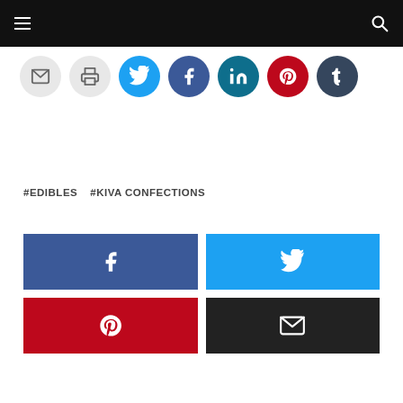Navigation bar with menu and search icons
[Figure (other): Row of social share icon circles: email (gray), print (gray), Twitter (blue), Facebook (dark blue), LinkedIn (teal), Pinterest (red), Tumblr (dark navy)]
#EDIBLES  #KIVA CONFECTIONS
[Figure (infographic): Four social share buttons in a 2x2 grid: Facebook (dark blue with f icon), Twitter (blue with bird icon), Pinterest (red with P icon), Email (black with envelope icon)]